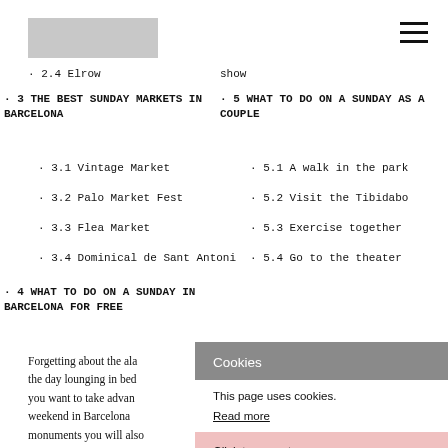[logo] [hamburger menu]
· 2.4 Elrow
show
· 3 THE BEST SUNDAY MARKETS IN BARCELONA
· 5 WHAT TO DO ON A SUNDAY AS A COUPLE
· 3.1 Vintage Market
· 5.1 A walk in the park
· 3.2 Palo Market Fest
· 5.2 Visit the Tibidabo
· 3.3 Flea Market
· 5.3 Exercise together
· 3.4 Dominical de Sant Antoni
· 5.4 Go to the theater
· 4 WHAT TO DO ON A SUNDAY IN BARCELONA FOR FREE
Forgetting about the ala... the day lounging in bed... you want to take advant... weekend in Barcelona... monuments you will also... during this day. There is...
Cookies
This page uses cookies.
Read more
Click to accept